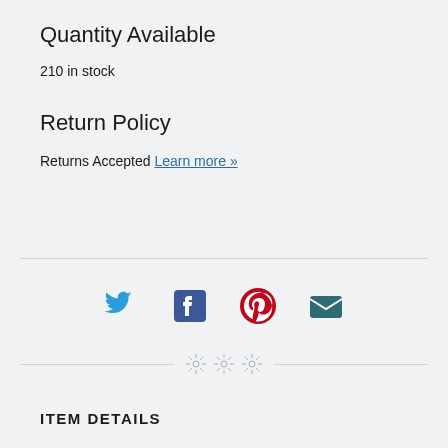Quantity Available
210 in stock
Return Policy
Returns Accepted Learn more »
[Figure (infographic): Social sharing icons: Twitter (blue bird), Facebook (blue F), Pinterest (red P), Email (teal envelope)]
[Figure (illustration): Three decorative floral/snowflake ornament divider symbols]
ITEM DETAILS